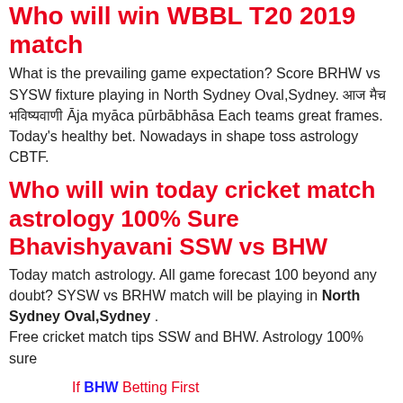Who will win WBBL T20 2019 match
What is the prevailing game expectation? Score BRHW vs SYSW fixture playing in North Sydney Oval,Sydney. आज मैच भविष्यवाणी Āja myāca pūrbābhāsa Each teams great frames. Today's healthy bet. Nowadays in shape toss astrology CBTF.
Who will win today cricket match astrology 100% Sure Bhavishyavani SSW vs BHW
Today match astrology. All game forecast 100 beyond any doubt? SYSW vs BRHW match will be playing in North Sydney Oval,Sydney . Free cricket match tips SSW and BHW. Astrology 100% sure
If BHW Betting First
6 Over Session Runs is :
20 Over Lambi Pari Runs is :
If SSW Betting First
6 Over Session Runs is :
20 Over Lambi Pari Runs is :
[Figure (other): A blue-bordered button or banner image at the bottom of the page]